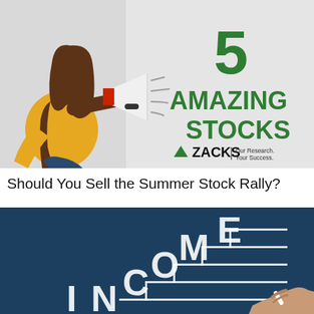[Figure (illustration): Promotional banner with woman holding megaphone on left, large green text '5 AMAZING STOCKS' on right, Zacks logo with tagline 'Our Research. Your Success.' on gray background]
Should You Sell the Summer Stock Rally?
[Figure (photo): Dark navy/teal chalkboard with white chalk letters spelling 'INCOME' arranged in a staircase pattern, with a hand holding chalk in the lower right corner]